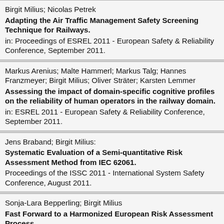Birgit Milius; Nicolas Petrek
Adapting the Air Traffic Management Safety Screening Technique for Railways.
in: Proceedings of ESREL 2011 - European Safety & Reliability Conference, September 2011.
Markus Arenius; Malte Hammerl; Markus Talg; Hannes Franzmeyer; Birgit Milius; Oliver Sträter; Karsten Lemmer
Assessing the impact of domain-specific cognitive profiles on the reliability of human operators in the railway domain.
in: ESREL 2011 - European Safety & Reliability Conference, September 2011.
Jens Braband; Birgit Milius:
Systematic Evaluation of a Semi-quantitative Risk Assessment Method from IEC 62061.
Proceedings of the ISSC 2011 - International System Safety Conference, August 2011.
Sonja-Lara Bepperling; Birgit Milius
Fast Forward to a Harmonized European Risk Assessment Process.
Journal of System Safety, Vol. 46, No. 4 - November-December 2010.
Birgit Milius
Designing a semi-quantitative risk graph in Proceedings of